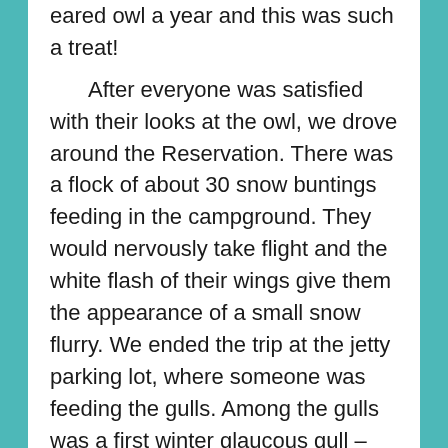eared owl a year and this was such a treat! After everyone was satisfied with their looks at the owl, we drove around the Reservation. There was a flock of about 30 snow buntings feeding in the campground. They would nervously take flight and the white flash of their wings give them the appearance of a small snow flurry. We ended the trip at the jetty parking lot, where someone was feeding the gulls. Among the gulls was a first winter glaucous gull –larger than the herring gull and all white, no black wingtips. As we drove in and spotted the glaucous gull, the person feeding them stopped and the gulls dispersed. Thus, not everyone saw the glaucous gull. Still, everyone went home satisfied with some great looks at eagles and owls!